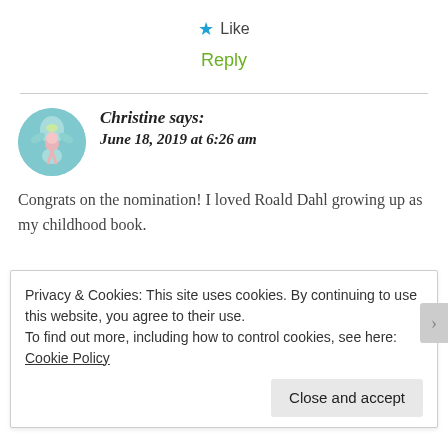★ Like
Reply
Christine says:
June 18, 2019 at 6:26 am
Congrats on the nomination! I loved Roald Dahl growing up as my childhood book.
Privacy & Cookies: This site uses cookies. By continuing to use this website, you agree to their use.
To find out more, including how to control cookies, see here: Cookie Policy
Close and accept